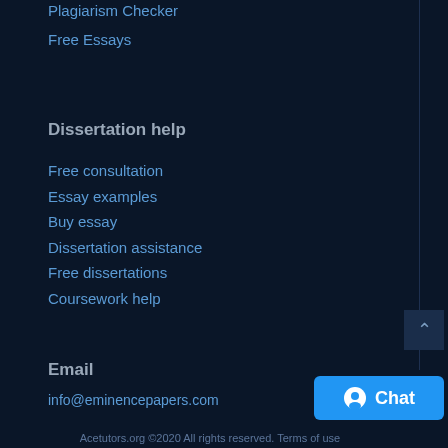Plagiarism Checker
Free Essays
Dissertation help
Free consultation
Essay examples
Buy essay
Dissertation assistance
Free dissertations
Coursework help
Email
info@eminencepapers.com
Acetutors.org ©2020 All rights reserved. Terms of use